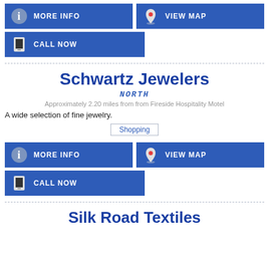[Figure (infographic): MORE INFO button (blue, info icon) and VIEW MAP button (blue, map pin icon) side by side]
[Figure (infographic): CALL NOW button (blue, phone icon)]
Schwartz Jewelers
NORTH
Approximately 2.20 miles from from Fireside Hospitality Motel
A wide selection of fine jewelry.
Shopping
[Figure (infographic): MORE INFO button (blue, info icon) and VIEW MAP button (blue, map pin icon) side by side]
[Figure (infographic): CALL NOW button (blue, phone icon)]
Silk Road Textiles